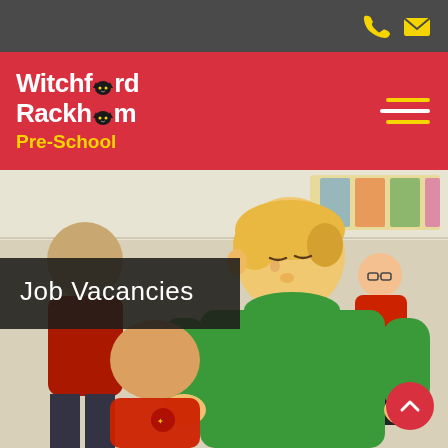Navigation bar with phone and email icons
Witchford Rackham Pre-School
[Figure (photo): Classroom photo showing children engaged in activity, one child in green t-shirt in foreground, another in red t-shirt, adult in background wearing red, bright classroom setting]
Job Vacancies